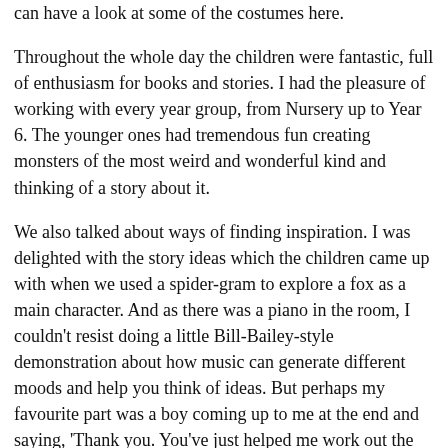can have a look at some of the costumes here.
Throughout the whole day the children were fantastic, full of enthusiasm for books and stories. I had the pleasure of working with every year group, from Nursery up to Year 6. The younger ones had tremendous fun creating monsters of the most weird and wonderful kind and thinking of a story about it.
We also talked about ways of finding inspiration. I was delighted with the story ideas which the children came up with when we used a spider-gram to explore a fox as a main character.  And as there was a piano in the room, I couldn’t resist doing a little Bill-Bailey-style demonstration about how music can generate different moods and help you think of ideas. But perhaps my favourite part was a boy coming up to me at the end and saying, ‘Thank you. You’ve just helped me work out the end to my story. I’ve been